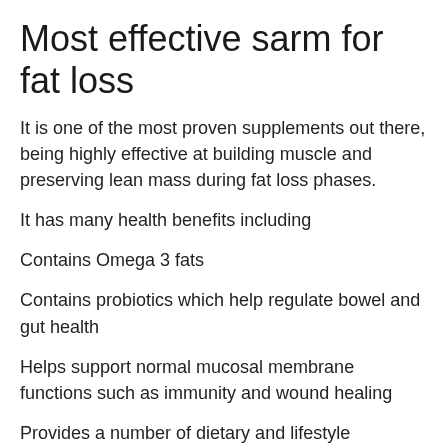Most effective sarm for fat loss
It is one of the most proven supplements out there, being highly effective at building muscle and preserving lean mass during fat loss phases.
It has many health benefits including
Contains Omega 3 fats
Contains probiotics which help regulate bowel and gut health
Helps support normal mucosal membrane functions such as immunity and wound healing
Provides a number of dietary and lifestyle guidelines as well as an essential